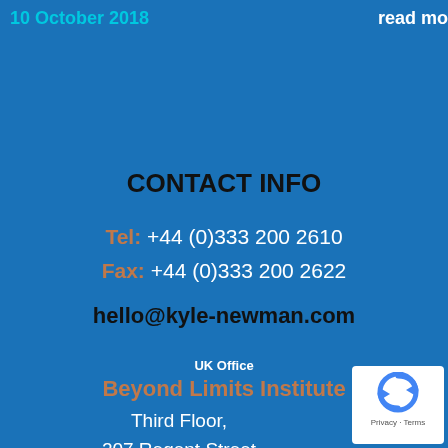10 October 2018
read mo
CONTACT INFO
Tel: +44 (0)333 200 2610
Fax: +44 (0)333 200 2622
hello@kyle-newman.com
UK Office
Beyond Limits Institute
Third Floor,
207 Regent Street
London
W1B 3HH
Head Office
Beyond Limits Institute
[Figure (logo): reCAPTCHA privacy badge with circular arrow icon and Privacy · Terms text]